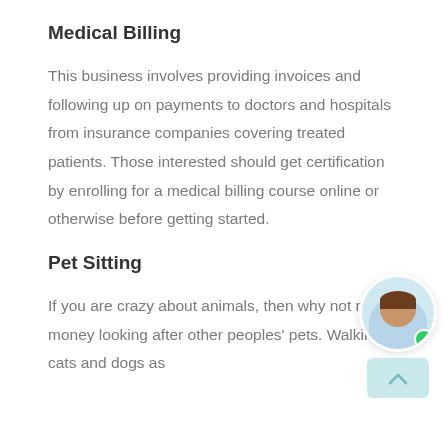Medical Billing
This business involves providing invoices and following up on payments to doctors and hospitals from insurance companies covering treated patients. Those interested should get certification by enrolling for a medical billing course online or otherwise before getting started.
Pet Sitting
If you are crazy about animals, then why not make money looking after other peoples' pets. Walking cats and dogs as